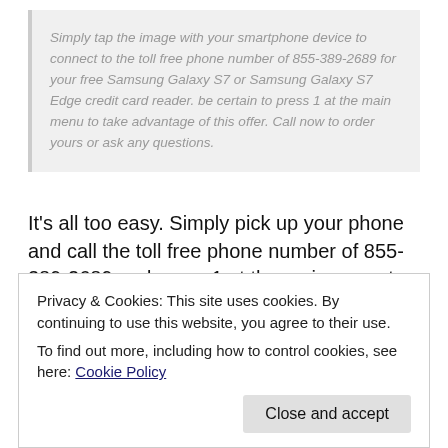Simply tap the image with your smartphone device to connect to the toll free phone number of 855-389-2689 for your free Samsung Galaxy S7 or Samsung Galaxy S7 Edge credit card reader. be certain to press 1 at the main menu to take advantage of this offer. Call now to order yours or ask any questions.
It's all too easy. Simply pick up your phone and call the toll free phone number of 855-389-2689 and press 1 at the main menu to order your free Samsung Galaxy S7 and Samsung Galaxy S7 Edge free credit card reader. You can call with any questions you may have concerning your Intuit merchant account that comes with it. There are 2 types of merchant
Privacy & Cookies: This site uses cookies. By continuing to use this website, you agree to their use.
To find out more, including how to control cookies, see here: Cookie Policy